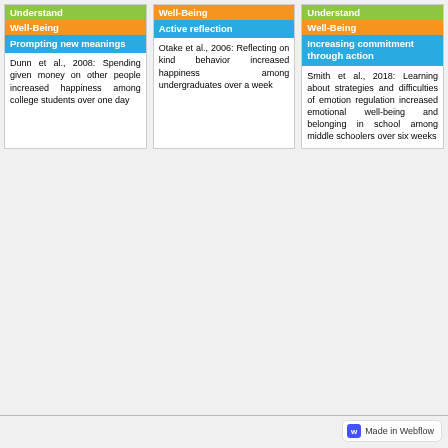[Figure (infographic): Three-column card layout showing Well-Being research cards. Column 1: green 'Understand' tag (partially visible), orange 'Well-Being' tag, blue 'Prompting new meanings' tag, body text about Dunn et al. 2008. Column 2: orange 'Well-Being' tag, blue 'Active reflection' tag, body text about Otake et al. 2006. Column 3: green 'Understand' tag (partially visible), orange 'Well-Being' tag, blue 'Increasing commitment through action' tag, body text about Smith et al. 2018.]
Made in Webflow